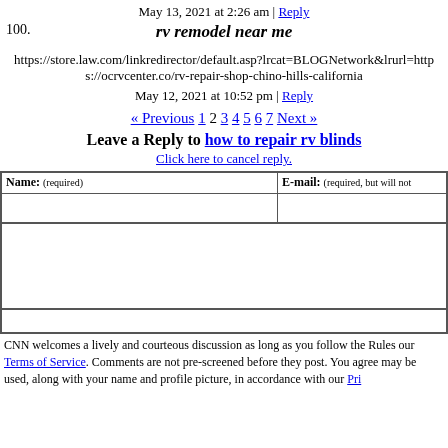May 13, 2021 at 2:26 am | Reply
100. rv remodel near me
https://store.law.com/linkredirector/default.asp?lrcat=BLOGNetwork&lrurl=https://ocrvcenter.co/rv-repair-shop-chino-hills-california
May 12, 2021 at 10:52 pm | Reply
« Previous 1 2 3 4 5 6 7 Next »
Leave a Reply to how to repair rv blinds
Click here to cancel reply.
| Name: (required) | E-mail: (required, but will not… |
| --- | --- |
|  |  |
CNN welcomes a lively and courteous discussion as long as you follow the Rules our Terms of Service. Comments are not pre-screened before they post. You agree may be used, along with your name and profile picture, in accordance with our Pri